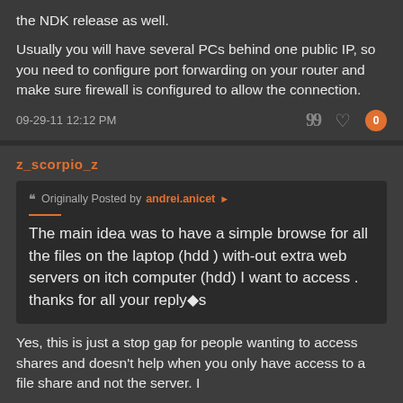the NDK release as well.
Usually you will have several PCs behind one public IP, so you need to configure port forwarding on your router and make sure firewall is configured to allow the connection.
09-29-11 12:12 PM
z_scorpio_z
Originally Posted by andrei.anicet
The main idea was to have a simple browse for all the files on the laptop (hdd ) with-out extra web servers on itch computer (hdd) I want to access . thanks for all your reply�s
Yes, this is just a stop gap for people wanting to access shares and doesn't help when you only have access to a file share and not the server. I